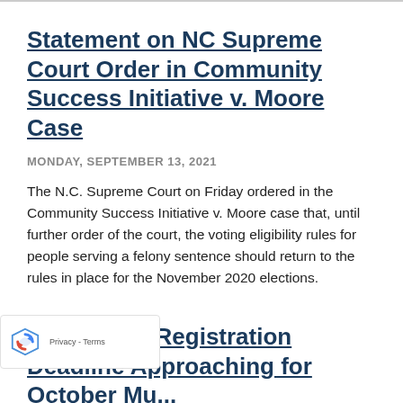Statement on NC Supreme Court Order in Community Success Initiative v. Moore Case
MONDAY, SEPTEMBER 13, 2021
The N.C. Supreme Court on Friday ordered in the Community Success Initiative v. Moore case that, until further order of the court, the voting eligibility rules for people serving a felony sentence should return to the rules in place for the November 2020 elections.
Regular Voter Registration Deadline Approaching for October Municipal...